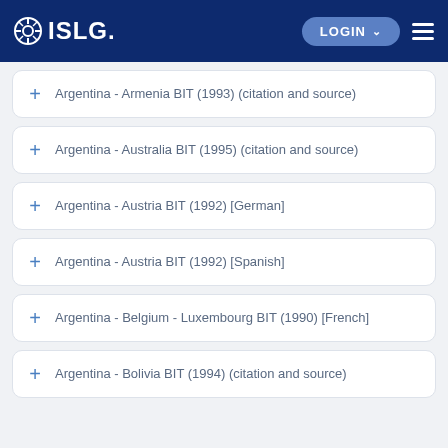ISLG LOGIN
Argentina - Armenia BIT (1993) (citation and source)
Argentina - Australia BIT (1995) (citation and source)
Argentina - Austria BIT (1992) [German]
Argentina - Austria BIT (1992) [Spanish]
Argentina - Belgium - Luxembourg BIT (1990) [French]
Argentina - Bolivia BIT (1994) (citation and source)